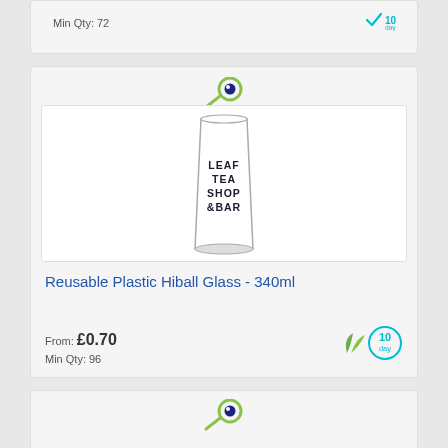Min Qty: 72
[Figure (illustration): Eye/magnify icon (green circle with dark blue pupil and green stem) above product image area]
[Figure (photo): Reusable plastic hiball glass 340ml with 'LEAF TEA SHOP &BAR' text printed on it]
Reusable Plastic Hiball Glass - 340ml
From: £0.70
Min Qty: 96
[Figure (illustration): Green leaf icon and teal '10 day' badge]
[Figure (illustration): Eye/magnify icon (green circle with dark blue pupil and green stem) — bottom partial card]